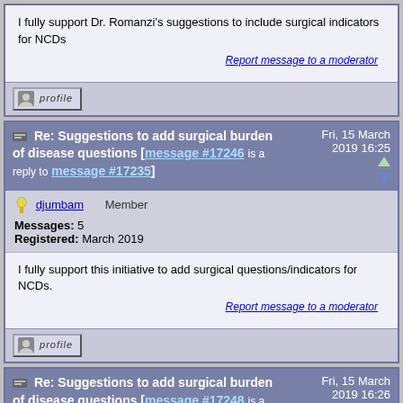I fully support Dr. Romanzi's suggestions to include surgical indicators for NCDs
Report message to a moderator
Re: Suggestions to add surgical burden of disease questions [message #17246 is a reply to message #17235]   Fri, 15 March 2019 16:25
djumbam   Member
Messages: 5
Registered: March 2019
I fully support this initiative to add surgical questions/indicators for NCDs.
Report message to a moderator
Re: Suggestions to add surgical burden of disease questions [message #17248 is a reply to message #17230]   Fri, 15 March 2019 16:26